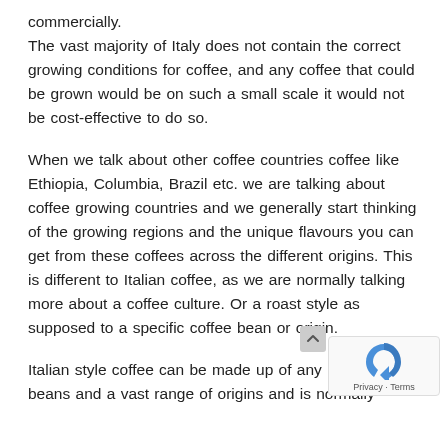commercially.
The vast majority of Italy does not contain the correct growing conditions for coffee, and any coffee that could be grown would be on such a small scale it would not be cost-effective to do so.
When we talk about other coffee countries coffee like Ethiopia, Columbia, Brazil etc. we are talking about coffee growing countries and we generally start thinking of the growing regions and the unique flavours you can get from these coffees across the different origins. This is different to Italian coffee, as we are normally talking more about a coffee culture. Or a roast style as supposed to a specific coffee bean or origin.
Italian style coffee can be made up of any  en beans and a vast range of origins and is normally